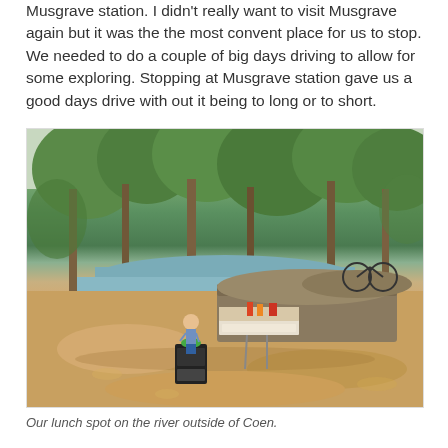Musgrave station. I didn't really want to visit Musgrave again but it was the the most convent place for us to stop. We needed to do a couple of big days driving to allow for some exploring. Stopping at Musgrave station gave us a good days drive with out it being to long or to short.
[Figure (photo): A child standing on red dirt near a camping trailer with open storage drawers and supplies, parked next to a river lined with eucalyptus trees. Camping setup with a fridge/cooler box and equipment visible.]
Our lunch spot on the river outside of Coen.